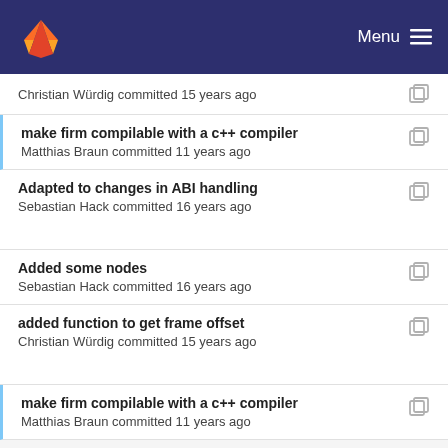Menu
Christian Würdig committed 15 years ago
make firm compilable with a c++ compiler
Matthias Braun committed 11 years ago
Adapted to changes in ABI handling
Sebastian Hack committed 16 years ago
Added some nodes
Sebastian Hack committed 16 years ago
added function to get frame offset
Christian Würdig committed 15 years ago
make firm compilable with a c++ compiler
Matthias Braun committed 11 years ago
Imprint